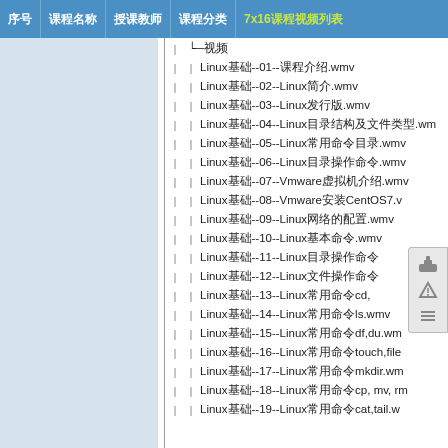序号 | 课程名称 | 授课教师 | 课程分类 | 7x16课程视频列表
└─视频
Linux基础--01--课程介绍.wmv
Linux基础--02--Linux简介.wmv
Linux基础--03--Linux发行版.wmv
Linux基础--04--Linux目录结构及文件类型.wmv
Linux基础--05--Linux常用命令目录.wmv
Linux基础--06--Linux目录操作命令.wmv
Linux基础--07--Vmware虚拟机介绍.wmv
Linux基础--08--Vmware安装CentOS7.wmv
Linux基础--09--Linux网络的配置.wmv
Linux基础--10--Linux基本命令.wmv
Linux基础--11--Linux目录操作命令
Linux基础--12--Linux文件操作命令
Linux基础--13--Linux常用命令cd,
Linux基础--14--Linux常用命令ls.wmv
Linux基础--15--Linux常用命令df,du.wmv
Linux基础--16--Linux常用命令touch,file.wmv
Linux基础--17--Linux常用命令mkdir.wmv
Linux基础--18--Linux常用命令cp, mv, rm.wmv
Linux基础--19--Linux常用命令cat,tail.wmv